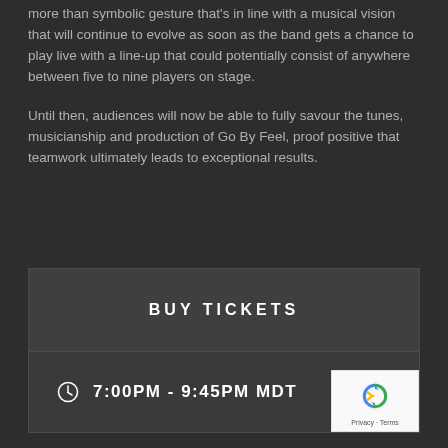more than symbolic gesture that's in line with a musical vision that will continue to evolve as soon as the band gets a chance to play live with a line-up that could potentially consist of anywhere between five to nine players on stage.
Until then, audiences will now be able to fully savour the tunes, musicianship and production of Go By Feel, proof positive that teamwork ultimately leads to exceptional results.
BUY TICKETS
7:00PM - 9:45PM MDT